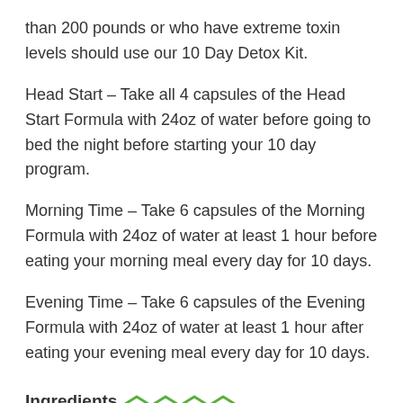than 200 pounds or who have extreme toxin levels should use our 10 Day Detox Kit.
Head Start – Take all 4 capsules of the Head Start Formula with 24oz of water before going to bed the night before starting your 10 day program.
Morning Time – Take 6 capsules of the Morning Formula with 24oz of water at least 1 hour before eating your morning meal every day for 10 days.
Evening Time – Take 6 capsules of the Evening Formula with 24oz of water at least 1 hour after eating your evening meal every day for 10 days.
Ingredients